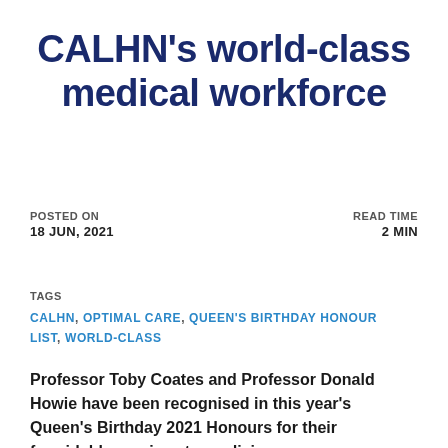CALHN's world-class medical workforce
POSTED ON
18 JUN, 2021
READ TIME
2 MIN
TAGS
CALHN, OPTIMAL CARE, QUEEN'S BIRTHDAY HONOUR LIST, WORLD-CLASS
Professor Toby Coates and Professor Donald Howie have been recognised in this year's Queen's Birthday 2021 Honours for their formidable services to medicine.